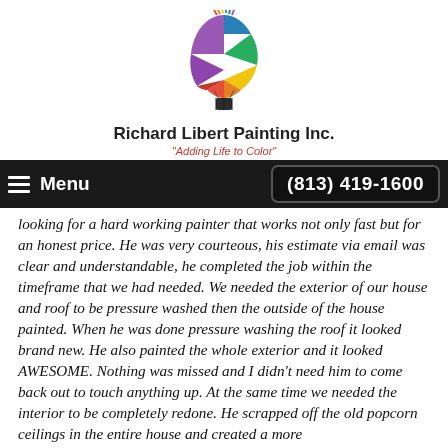[Figure (logo): Richard Libert Painting Inc. logo — a rainbow-colored hot air balloon shape above a small black basket, with multi-color flame ribbons]
Richard Libert Painting Inc.
"Adding Life to Color"
Menu   (813) 419-1600
looking for a hard working painter that works not only fast but for an honest price. He was very courteous, his estimate via email was clear and understandable, he completed the job within the timeframe that we had needed. We needed the exterior of our house and roof to be pressure washed then the outside of the house painted. When he was done pressure washing the roof it looked brand new. He also painted the whole exterior and it looked AWESOME. Nothing was missed and I didn't need him to come back out to touch anything up. At the same time we needed the interior to be completely redone. He scrapped off the old popcorn ceilings in the entire house and created a more